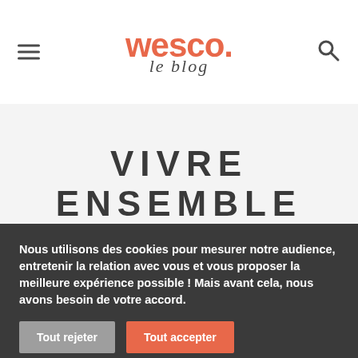Wesco Le blog
VIVRE ENSEMBLE
Nous utilisons des cookies pour mesurer notre audience, entretenir la relation avec vous et vous proposer la meilleure expérience possible ! Mais avant cela, nous avons besoin de votre accord.
Tout rejeter
Tout accepter